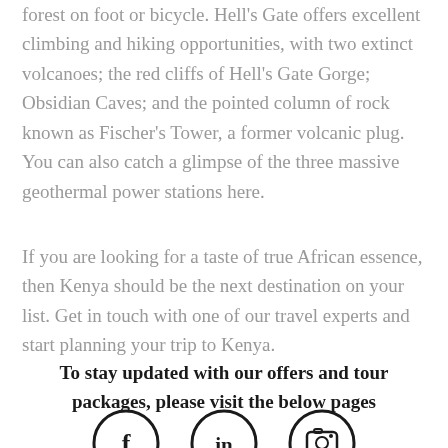forest on foot or bicycle. Hell's Gate offers excellent climbing and hiking opportunities, with two extinct volcanoes; the red cliffs of Hell's Gate Gorge; Obsidian Caves; and the pointed column of rock known as Fischer's Tower, a former volcanic plug. You can also catch a glimpse of the three massive geothermal power stations here.
If you are looking for a taste of true African essence, then Kenya should be the next destination on your list. Get in touch with one of our travel experts and start planning your trip to Kenya.
To stay updated with our offers and tour packages, please visit the below pages
[Figure (illustration): Three social media icon circles: Facebook (f), LinkedIn (in), Instagram (camera icon)]